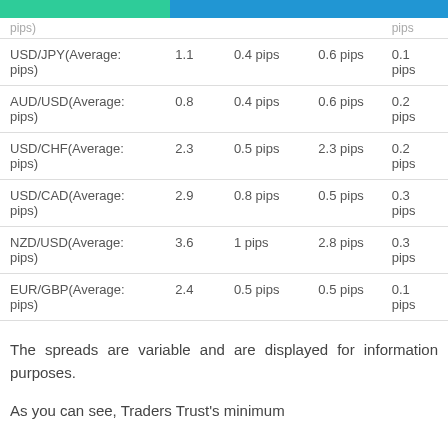| Currency Pair | Avg Spread | Col3 | Col4 | Col5 |
| --- | --- | --- | --- | --- |
| pips) |  |  |  | pips |
| USD/JPY(Average: pips) | 1.1 | 0.4 pips | 0.6 pips | 0.1 pips |
| AUD/USD(Average: pips) | 0.8 | 0.4 pips | 0.6 pips | 0.2 pips |
| USD/CHF(Average: pips) | 2.3 | 0.5 pips | 2.3 pips | 0.2 pips |
| USD/CAD(Average: pips) | 2.9 | 0.8 pips | 0.5 pips | 0.3 pips |
| NZD/USD(Average: pips) | 3.6 | 1 pips | 2.8 pips | 0.3 pips |
| EUR/GBP(Average: pips) | 2.4 | 0.5 pips | 0.5 pips | 0.1 pips |
The spreads are variable and are displayed for information purposes.
As you can see, Traders Trust's minimum